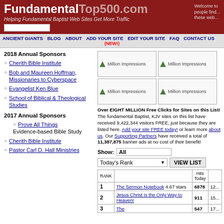FundamentalTop500.com - Helping Fundamental Baptist Web Sites Get More Traffic
ANCIENT GIANTS  BLOG  ABOUT  ADD YOUR SITE  EDIT YOUR SITE  FAQ  CONTACT US (NEW!)
2018 Annual Sponsors
Cherith Bible Institute
Bob and Maureen Hoffman, Missionaries to Cyberspace
Evangelist Ken Blue
School of Biblical & Theological Studies
2017 Annual Sponsors
Prove All Things Evidence-based Bible Study
Cherith Bible Institute
Pastor Carl D. Hall Ministries
[Figure (other): Four Million Impressions banner ads]
Over EIGHT MILLION Free Clicks for Sites on this List! The fundamental Baptist, KJV sites on this list have received 9,422,344 visitors FREE, just because they are listed here. Add your site FREE today! or learn more about us. Our Supporting Partners have received a total of 11,387,875 banner ads at no cost of their benefit!
| RANK |  | Hits Today |  |
| --- | --- | --- | --- |
| 1 | The Sermon Notebook 4.67 stars | 6878 | 12... |
| 2 | Jesus Christ is the Only Way to Heaven! | 911 | 15... |
| 3 | The | 547 | 17... |